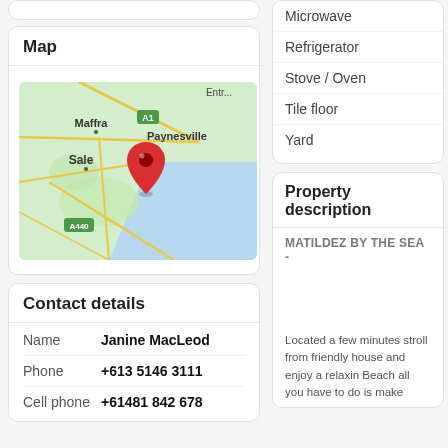[Figure (map): Google Maps view showing Sale, Paynesville, Maffra area in Victoria, Australia with a red location pin near the coast. Road A1 and A440 are visible.]
Map
Contact details
Name	Janine MacLeod
Phone	+613 5146 3111
Cell phone	+61481 842 678
Microwave
Refrigerator
Stove / Oven
Tile floor
Yard
Property description
MATILDEZ BY THE SEA -
Located a few minutes stroll from friendly house and enjoy a relaxin Beach all you have to do is make